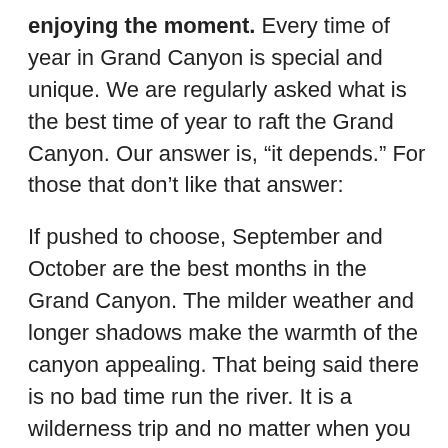enjoying the moment. Every time of year in Grand Canyon is special and unique. We are regularly asked what is the best time of year to raft the Grand Canyon. Our answer is, “it depends.” For those that don’t like that answer:
If pushed to choose, September and October are the best months in the Grand Canyon. The milder weather and longer shadows make the warmth of the canyon appealing. That being said there is no bad time run the river. It is a wilderness trip and no matter when you travel so be prepared for weather. We’ve seen hot days in the winter and cold days in the summer.